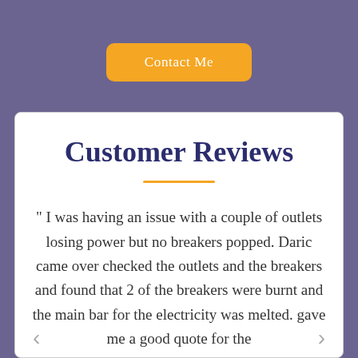[Figure (other): Orange rounded rectangle button labeled 'Contact Me' on a purple background]
Customer Reviews
" I was having an issue with a couple of outlets losing power but no breakers popped. Daric came over checked the outlets and the breakers and found that 2 of the breakers were burnt and the main bar for the electricity was melted. gave me a good quote for the